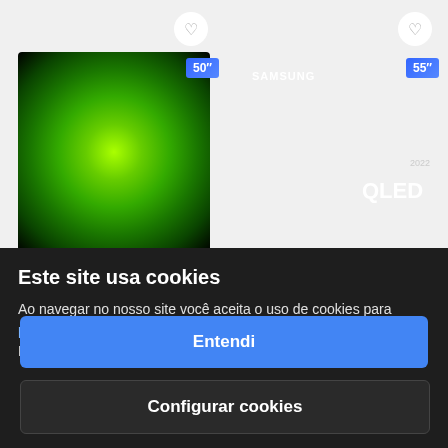[Figure (screenshot): Two TV product cards on an e-commerce page. Left: a 50-inch TV with green circular pattern screen. Right: a Samsung 55-inch QLED 2022 TV with colorful wave pattern screen. Both have heart/favorite icons.]
Este site usa cookies
Ao navegar no nosso site você aceita o uso de cookies para personalizar sua experiência de acordo com a Declaração de Privacidade.
Entendi
Configurar cookies